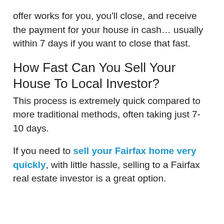offer works for you, you'll close, and receive the payment for your house in cash… usually within 7 days if you want to close that fast.
How Fast Can You Sell Your House To Local Investor?
This process is extremely quick compared to more traditional methods, often taking just 7-10 days.
If you need to sell your Fairfax home very quickly, with little hassle, selling to a Fairfax real estate investor is a great option.